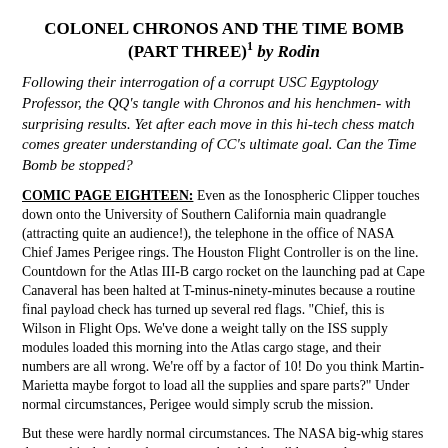COLONEL CHRONOS AND THE TIME BOMB (PART THREE)¹ by Rodin
Following their interrogation of a corrupt USC Egyptology Professor, the QQ's tangle with Chronos and his henchmen- with surprising results. Yet after each move in this hi-tech chess match comes greater understanding of CC's ultimate goal. Can the Time Bomb be stopped?
COMIC PAGE EIGHTEEN: Even as the Ionospheric Clipper touches down onto the University of Southern California main quadrangle (attracting quite an audience!), the telephone in the office of NASA Chief James Perigee rings. The Houston Flight Controller is on the line. Countdown for the Atlas III-B cargo rocket on the launching pad at Cape Canaveral has been halted at T-minus-ninety-minutes because a routine final payload check has turned up several red flags. "Chief, this is Wilson in Flight Ops. We've done a weight tally on the ISS supply modules loaded this morning into the Atlas cargo stage, and their numbers are all wrong. We're off by a factor of 10! Do you think Martin-Marietta maybe forgot to load all the supplies and spare parts?" Under normal circumstances, Perigee would simply scrub the mission.
But these were hardly normal circumstances. The NASA big-whig stares down at his desktop where yet another blackmail letter and accompanying photograph sit newly-opened. Various unaffiliated (and thus untraceable) magazine and newspaper letters spell out the command: IGNORE ANYTHING UNUSUAL!
Along with this, the next page...